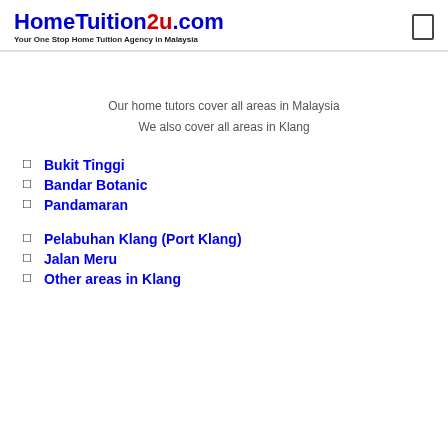HomeTuition2u.com — Your One Stop Home Tuition Agency in Malaysia
Our home tutors cover all areas in Malaysia
We also cover all areas in Klang
Bukit Tinggi
Bandar Botanic
Pandamaran
Pelabuhan Klang (Port Klang)
Jalan Meru
Other areas in Klang